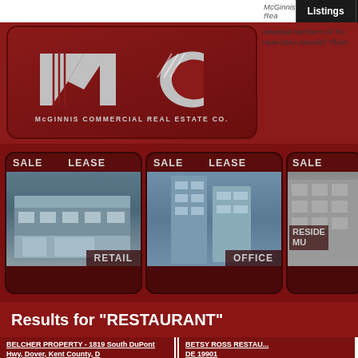McGinnis Rea
[Figure (logo): McGinnis Commercial Real Estate Co. logo with stylized MC letters on dark red background]
Individual Members Of Thi Have Been Awarded These
Listings  Company
[Figure (screenshot): Three property listing tiles showing SALE/LEASE options: RETAIL building, OFFICE towers, and RESIDENTIAL/MULTI (partial). Dark red background with building photos.]
Results for "RESTAURANT"
BELCHER PROPERTY - 1819 South DuPont Hwy, Dover, Kent County, D
BETSY ROSS RESTAU... DE 19901